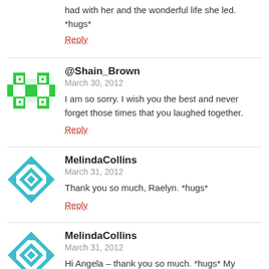had with her and the wonderful life she led. *hugs*
Reply
@Shain_Brown
March 30, 2012
I am so sorry. I wish you the best and never forget those times that you laughed together.
Reply
MelindaCollins
March 31, 2012
Thank you so much, Raelyn. *hugs*
Reply
MelindaCollins
March 31, 2012
Hi Angela – thank you so much. *hugs* My grandmother was very proud of her collection as